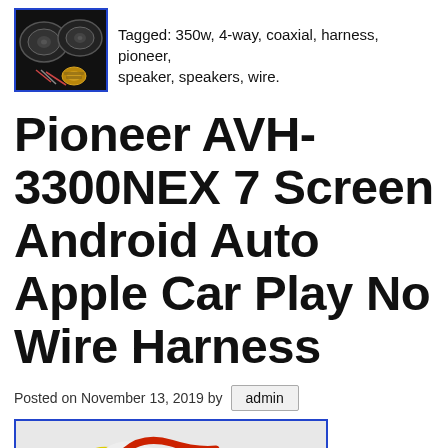[Figure (photo): Thumbnail image of Pioneer 4-way coaxial speakers with wires, bordered in blue]
Tagged: 350w, 4-way, coaxial, harness, pioneer, speaker, speakers, wire.
Pioneer AVH-3300NEX 7 Screen Android Auto Apple Car Play No Wire Harness
Posted on November 13, 2019 by admin
[Figure (photo): Image of a wire harness with colorful RCA cables and connectors on a black background, bordered in blue]